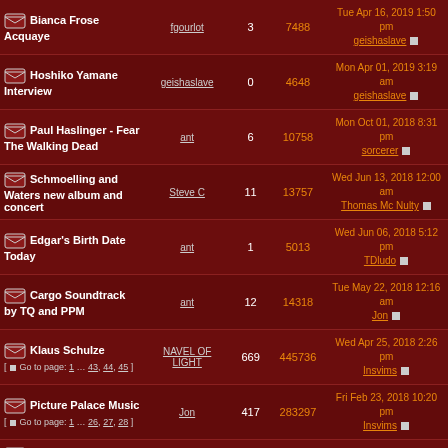| Topic | Author | Replies | Views | Last Post |
| --- | --- | --- | --- | --- |
| Bianca Frose Acquaye | fgourlot | 3 | 7488 | Tue Apr 16, 2019 1:50 pm
geishaslave |
| Hoshiko Yamane Interview | geishaslave | 0 | 4648 | Mon Apr 01, 2019 3:19 am
geishaslave |
| Paul Haslinger - Fear The Walking Dead | ant | 6 | 10758 | Mon Oct 01, 2018 8:31 pm
sorcerer |
| Schmoelling and Waters new album and concert | Steve C | 11 | 13757 | Wed Jun 13, 2018 12:00 am
Thomas Mc Nulty |
| Edgar's Birth Date Today | ant | 1 | 5013 | Wed Jun 06, 2018 5:12 pm
TDludo |
| Cargo Soundtrack by TQ and PPM | ant | 12 | 14318 | Tue May 22, 2018 12:16 am
Jon |
| Klaus Schulze [ Go to page: 1 … 43, 44, 45 ] | NAVEL OF LIGHT | 669 | 445736 | Wed Apr 25, 2018 2:26 pm
Insvims |
| Picture Palace Music [ Go to page: 1 … 26, 27, 28 ] | Jon | 417 | 283297 | Fri Feb 23, 2018 10:20 pm
Insvims |
| Steve Jolliffe - Cyclone 40th Anniversary Gig | Peter Beasley | 3 | 6357 | Sat Feb 03, 2018 8:36 pm
Jon |